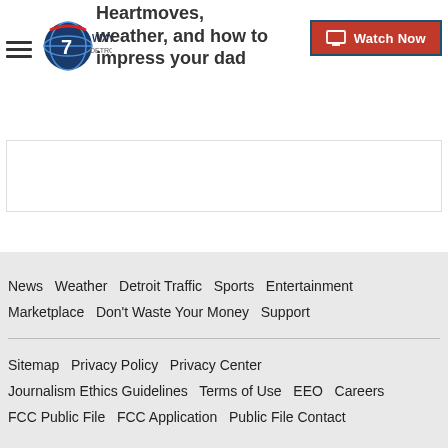WXYZ Detroit — Watch Now
Heartmoves, weather, and how to impress your dad
News Weather Detroit Traffic Sports Entertainment Marketplace Don't Waste Your Money Support Sitemap Privacy Policy Privacy Center Journalism Ethics Guidelines Terms of Use EEO Careers FCC Public File FCC Application Public File Contact